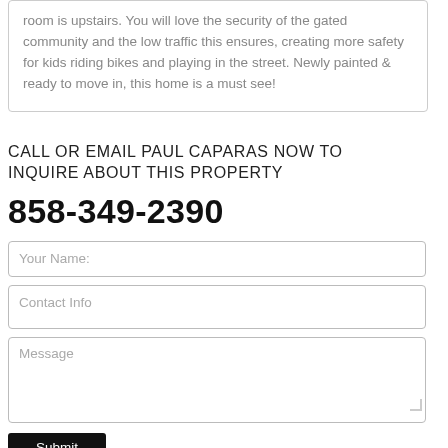room is upstairs. You will love the security of the gated community and the low traffic this ensures, creating more safety for kids riding bikes and playing in the street. Newly painted & ready to move in, this home is a must see!
CALL OR EMAIL PAUL CAPARAS NOW TO INQUIRE ABOUT THIS PROPERTY
858-349-2390